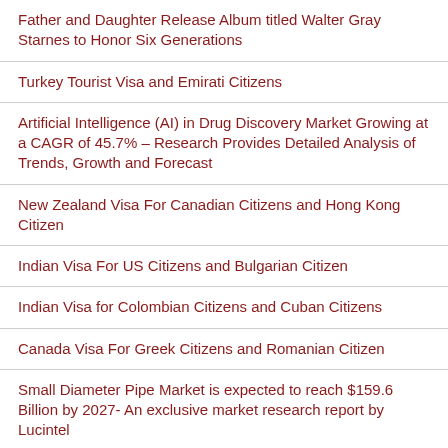Father and Daughter Release Album titled Walter Gray Starnes to Honor Six Generations
Turkey Tourist Visa and Emirati Citizens
Artificial Intelligence (AI) in Drug Discovery Market Growing at a CAGR of 45.7% – Research Provides Detailed Analysis of Trends, Growth and Forecast
New Zealand Visa For Canadian Citizens and Hong Kong Citizen
Indian Visa For US Citizens and Bulgarian Citizen
Indian Visa for Colombian Citizens and Cuban Citizens
Canada Visa For Greek Citizens and Romanian Citizen
Small Diameter Pipe Market is expected to reach $159.6 Billion by 2027- An exclusive market research report by Lucintel